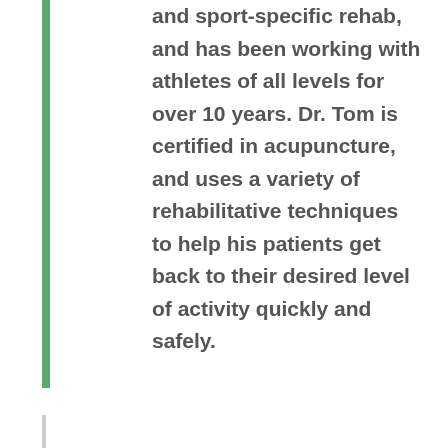and sport-specific rehab, and has been working with athletes of all levels for over 10 years. Dr. Tom is certified in acupuncture, and uses a variety of rehabilitative techniques to help his patients get back to their desired level of activity quickly and safely.